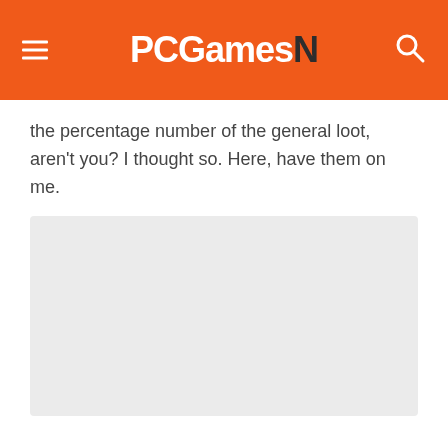PCGamesN
the percentage number of the general loot, aren't you? I thought so. Here, have them on me.
[Figure (other): A light grey placeholder image box]